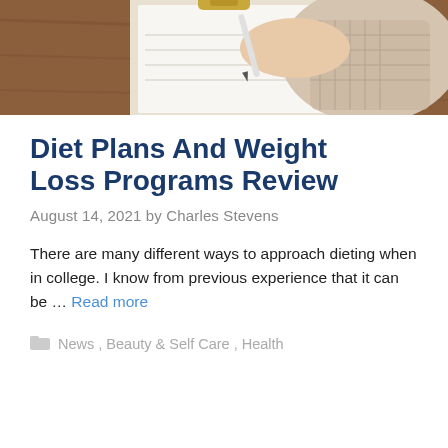[Figure (photo): A person writing in a notebook/planner on a wooden desk, taken from above at an angle. The person is wearing a patterned sleeve and holding a pen over a white notepad on a clipboard.]
Diet Plans And Weight Loss Programs Review
August 14, 2021 by Charles Stevens
There are many different ways to approach dieting when in college. I know from previous experience that it can be … Read more
News, Beauty & Self Care, Health